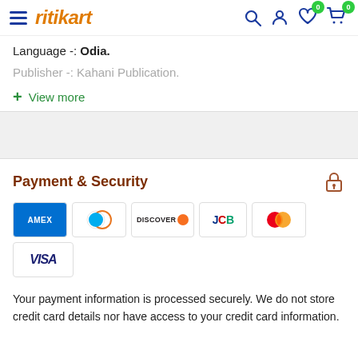ritikart
Language -: Odia.
Publisher -: Kahani Publication.
+ View more
Payment & Security
[Figure (infographic): Payment card logos: AMEX, Diners Club, Discover, JCB, Mastercard, Visa]
Your payment information is processed securely. We do not store credit card details nor have access to your credit card information.